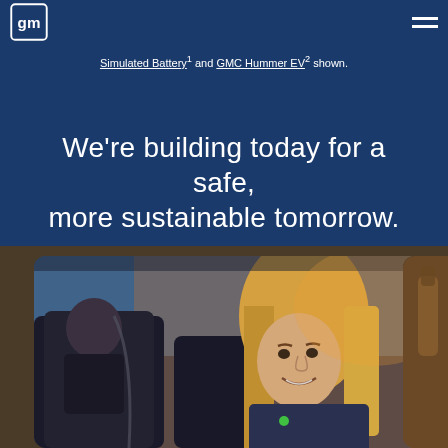GM logo and navigation hamburger menu
Simulated Battery¹ and GMC Hummer EV² shown.
We're building today for a safe, more sustainable tomorrow.
[Figure (photo): Photo of a smiling young woman with straight hair sitting in a car, viewed from inside the vehicle with another passenger visible in the background. Warm golden sunlight illuminates the scene.]